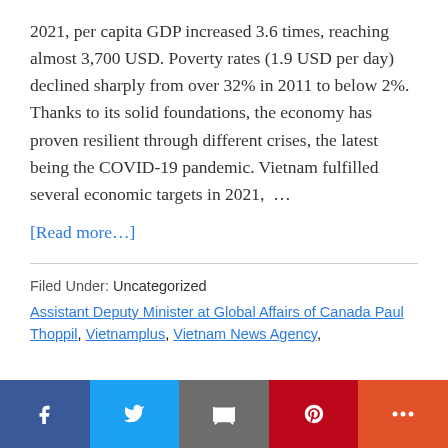2021, per capita GDP increased 3.6 times, reaching almost 3,700 USD. Poverty rates (1.9 USD per day) declined sharply from over 32% in 2011 to below 2%. Thanks to its solid foundations, the economy has proven resilient through different crises, the latest being the COVID-19 pandemic. Vietnam fulfilled several economic targets in 2021, …
[Read more...]
Filed Under: Uncategorized
Assistant Deputy Minister at Global Affairs of Canada Paul Thoppil, Vietnamplus, Vietnam News Agency,